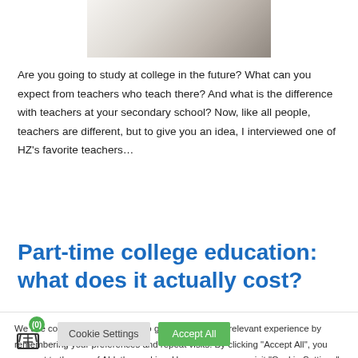[Figure (photo): Partial photo of a person at a whiteboard or wall, cropped at the top of the page]
Are you going to study at college in the future? What can you expect from teachers who teach there? And what is the difference with teachers at your secondary school? Now, like all people, teachers are different, but to give you an idea, I interviewed one of HZ's favorite teachers…
Part-time college education: what does it actually cost?
We use cookies on our website to give you the most relevant experience by remembering your preferences and repeat visits. By clicking "Accept All", you consent to the use of ALL the cookies. However, you may visit "Cookie Settings" to provide a controlled consent.